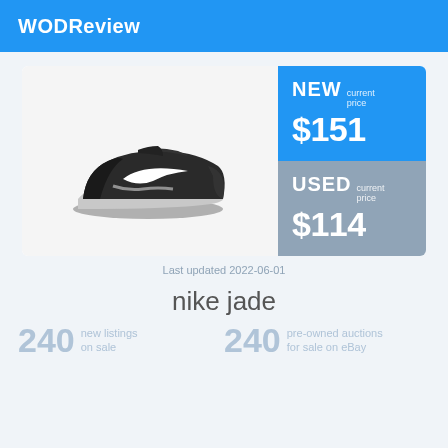WODReview
[Figure (photo): Nike training shoe (black and grey colorway) shown from the side on a light grey background]
NEW current price $151
USED current price $114
Last updated 2022-06-01
nike jade
240 new listings on sale
240 pre-owned auctions for sale on eBay